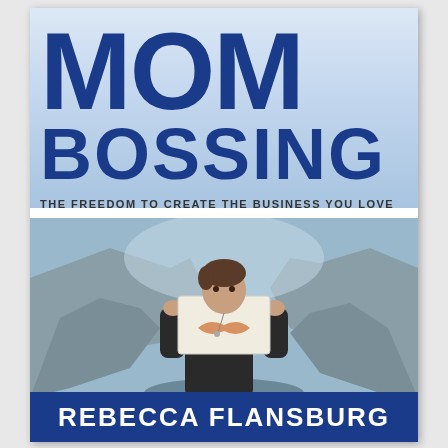MOM BOSSING
THE FREEDOM TO CREATE THE BUSINESS YOU LOVE
[Figure (photo): Woman standing outdoors in front of rocky cliffs/quarry landscape, holding up a paper with a mustache illustration covering her face, wearing dark clothing]
REBECCA FLANSBURG